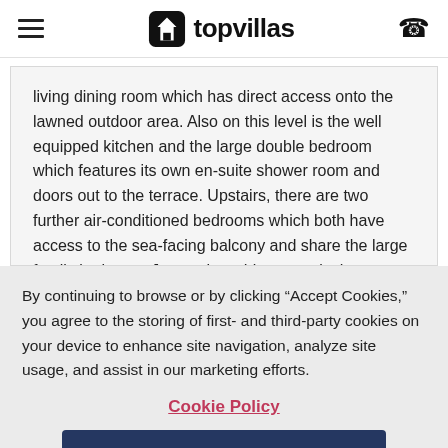topvillas
living dining room which has direct access onto the lawned outdoor area. Also on this level is the well equipped kitchen and the large double bedroom which features its own en-suite shower room and doors out to the terrace. Upstairs, there are two further air-conditioned bedrooms which both have access to the sea-facing balcony and share the large family bathroom.Just a short drive away is the traditional Cypriot town of Polis with its excellent selection of traditional
By continuing to browse or by clicking “Accept Cookies,” you agree to the storing of first- and third-party cookies on your device to enhance site navigation, analyze site usage, and assist in our marketing efforts.
Cookie Policy
Accept Cookies